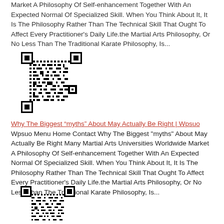Market A Philosophy Of Self-enhancement Together With An Expected Normal Of Specialized Skill. When You Think About It, It Is The Philosophy Rather Than The Technical Skill That Ought To Affect Every Practitioner's Daily Life.the Martial Arts Philosophy, Or No Less Than The Traditional Karate Philosophy, Is...
[Figure (other): QR code image]
Why The Biggest "myths" About May Actually Be Right | Wpsuo
Wpsuo Menu Home Contact Why The Biggest "myths" About May Actually Be Right Many Martial Arts Universities Worldwide Market A Philosophy Of Self-enhancement Together With An Expected Normal Of Specialized Skill. When You Think About It, It Is The Philosophy Rather Than The Technical Skill That Ought To Affect Every Practitioner's Daily Life.the Martial Arts Philosophy, Or No Less Than The Traditional Karate Philosophy, Is...
[Figure (other): QR code image]